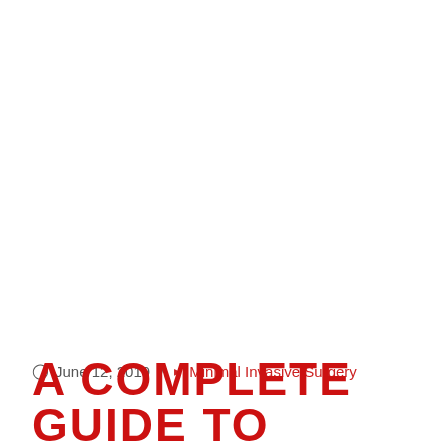June 12, 2019  /  Minimal Invasive Surgery
A COMPLETE GUIDE TO